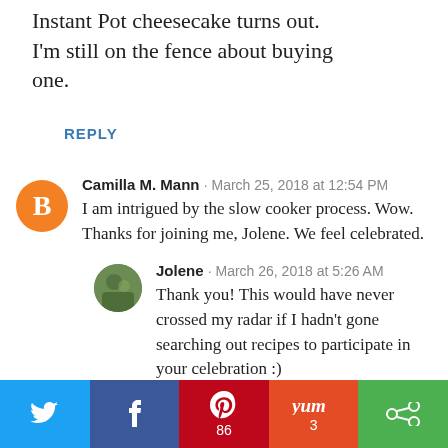Instant Pot cheesecake turns out. I'm still on the fence about buying one.
REPLY
Camilla M. Mann · March 25, 2018 at 12:54 PM
I am intrigued by the slow cooker process. Wow. Thanks for joining me, Jolene. We feel celebrated.
Jolene · March 26, 2018 at 5:26 AM
Thank you! This would have never crossed my radar if I hadn't gone searching out recipes to participate in your celebration :)